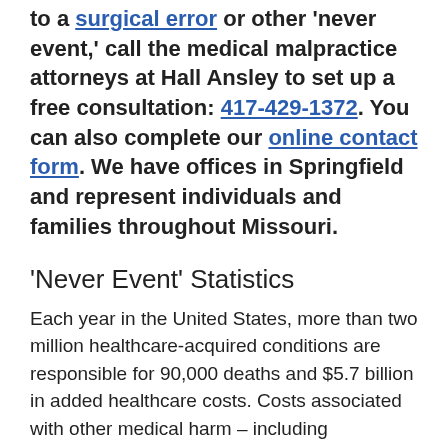to a surgical error or other 'never event,' call the medical malpractice attorneys at Hall Ansley to set up a free consultation: 417-429-1372. You can also complete our online contact form. We have offices in Springfield and represent individuals and families throughout Missouri.
'Never Event' Statistics
Each year in the United States, more than two million healthcare-acquired conditions are responsible for 90,000 deaths and $5.7 billion in added healthcare costs. Costs associated with other medical harm – including healthcare expenses, lost work productivity,